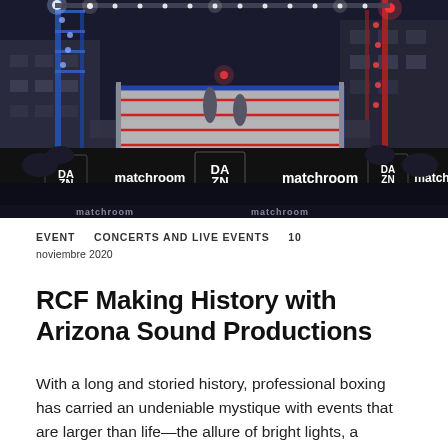[Figure (photo): Outdoor boxing ring at night with blue and red lights on a metal truss structure. DAZN and matchroom branded banners surround the ring. Spectators visible in background.]
EVENT   CONCERTS AND LIVE EVENTS   10 noviembre 2020
RCF Making History with Arizona Sound Productions
With a long and storied history, professional boxing has carried an undeniable mystique with events that are larger than life—the allure of bright lights, a commanding introduction from